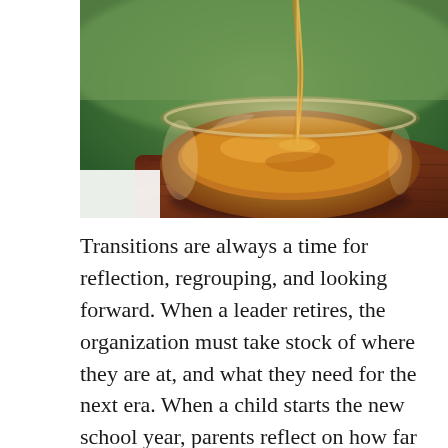[Figure (photo): Close-up photograph of honey being poured into a glass bowl sitting on a wooden cutting board, with a blurred green background.]
Transitions are always a time for reflection, regrouping, and looking forward.  When a leader retires, the organization must take stock of where they are at, and what they need for the next era.  When a child starts the new school year, parents reflect on how far they've come and what milestones they'll achieve this year.  My seven-year old daughter, for